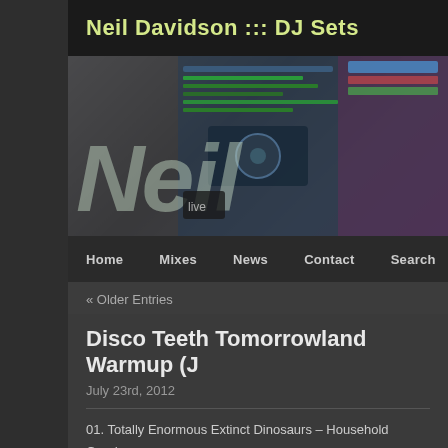Neil Davidson ::: DJ Sets
[Figure (photo): Banner image for Neil Davidson DJ Sets website with music software interfaces, DJ equipment, and overlaid text 'Neil' in large semi-transparent letters]
Home   Mixes   News   Contact   Search
« Older Entries
Disco Teeth Tomorrowland Warmup (J
July 23rd, 2012
01. Totally Enormous Extinct Dinosaurs – Household Goods
02. Doctor Dru – The Voice Of Dru (Original Mix)
03. Otto Knows – Million Voices (Original Mix)
04. Funkagenda – Pebbles (Original Mix)